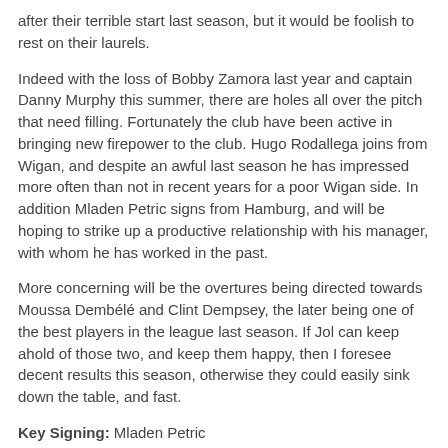after their terrible start last season, but it would be foolish to rest on their laurels.
Indeed with the loss of Bobby Zamora last year and captain Danny Murphy this summer, there are holes all over the pitch that need filling. Fortunately the club have been active in bringing new firepower to the club. Hugo Rodallega joins from Wigan, and despite an awful last season he has impressed more often than not in recent years for a poor Wigan side. In addition Mladen Petric signs from Hamburg, and will be hoping to strike up a productive relationship with his manager, with whom he has worked in the past.
More concerning will be the overtures being directed towards Moussa Dembélé and Clint Dempsey, the later being one of the best players in the league last season. If Jol can keep ahold of those two, and keep them happy, then I foresee decent results this season, otherwise they could easily sink down the table, and fast.
Key Signing: Mladen Petric
Key Man: Clint Dempsey